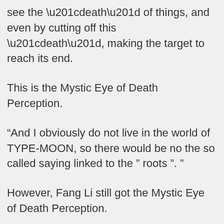see the “death” of things, and even by cutting off this “death”, making the target to reach its end.
This is the Mystic Eye of Death Perception.
“And I obviously do not live in the world of TYPE-MOON, so there would be no the so called saying linked to the ” roots ”. ”
However, Fang Li still got the Mystic Eye of Death Perception.
“Talent skills … talent skills … that is to say that I have this talent, right?”